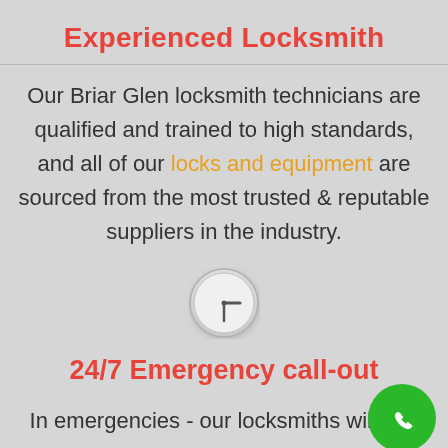Experienced Locksmith
Our Briar Glen locksmith technicians are qualified and trained to high standards, and all of our locks and equipment are sourced from the most trusted & reputable suppliers in the industry.
[Figure (illustration): A clock icon — circular with a white/light grey face and clock hands pointing to approximately 3 o'clock, inside a light circular border with gradient shadow.]
24/7 Emergency call-out
In emergencies - our locksmiths will aim to you within 60 minutes, and we're available hours a day.
[Figure (illustration): Green circular phone call button with a white telephone handset icon, positioned in the bottom-right corner.]